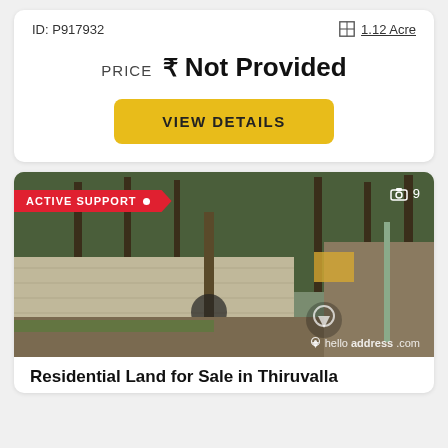ID: P917932
1.12 Acre
PRICE ₹ Not Provided
VIEW DETAILS
[Figure (photo): Outdoor photo of a residential land plot showing a concrete wall, a utility pole, trees, and a dirt pathway. Overlaid with 'ACTIVE SUPPORT' badge, camera icon with count 9, and helloaddress.com watermark.]
Residential Land for Sale in Thiruvalla